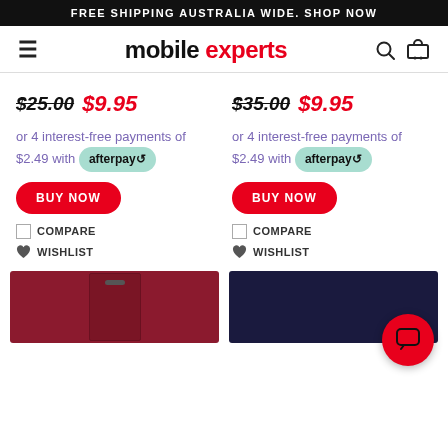FREE SHIPPING AUSTRALIA WIDE. SHOP NOW
[Figure (logo): Mobile Experts logo with hamburger menu, search and cart icons]
$25.00  $9.95
or 4 interest-free payments of $2.49 with afterpay
$35.00  $9.95
or 4 interest-free payments of $2.49 with afterpay
BUY NOW
BUY NOW
COMPARE
WISHLIST
COMPARE
WISHLIST
[Figure (photo): Red phone wallet case product image (partial, bottom of page)]
[Figure (photo): Dark navy phone wallet case product image (partial, bottom of page)]